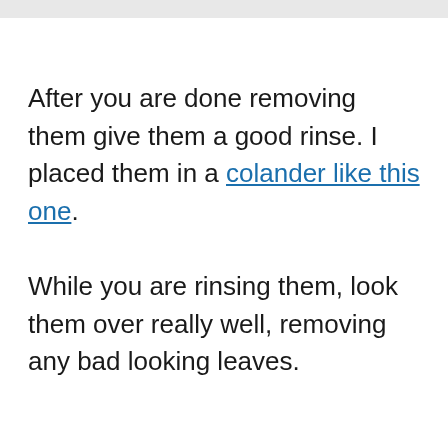After you are done removing them give them a good rinse. I placed them in a colander like this one.
While you are rinsing them, look them over really well, removing any bad looking leaves.